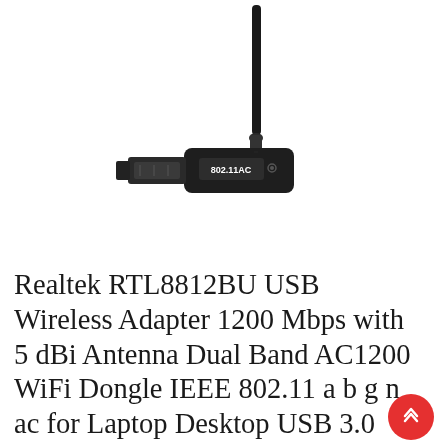[Figure (photo): A black USB wireless WiFi adapter with an external 5 dBi antenna. The device is labeled '802.11AC' on the body. The antenna extends upward at an angle. The adapter has a USB Type-A connector.]
Realtek RTL8812BU USB Wireless Adapter 1200 Mbps with 5 dBi Antenna Dual Band AC1200 WiFi Dongle IEEE 802.11 a b g n ac for Laptop Desktop USB 3.0 Network Adapter Support Windows 10 Mac